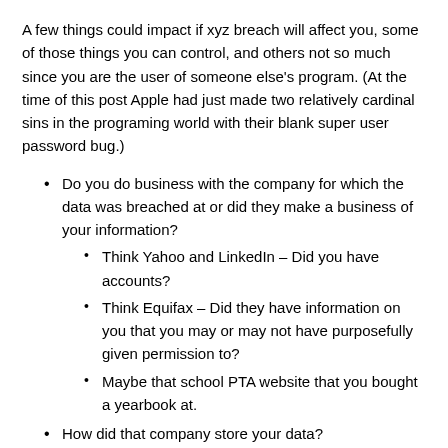A few things could impact if xyz breach will affect you, some of those things you can control, and others not so much since you are the user of someone else's program. (At the time of this post Apple had just made two relatively cardinal sins in the programing world with their blank super user password bug.)
Do you do business with the company for which the data was breached at or did they make a business of your information?
Think Yahoo and LinkedIn – Did you have accounts?
Think Equifax – Did they have information on you that you may or may not have purposefully given permission to?
Maybe that school PTA website that you bought a yearbook at.
How did that company store your data?
Is it encrypted?